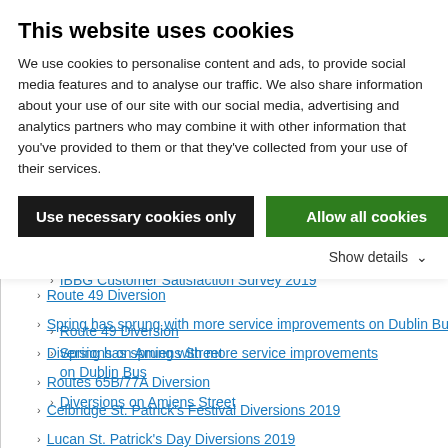This website uses cookies
We use cookies to personalise content and ads, to provide social media features and to analyse our traffic. We also share information about your use of our site with our social media, advertising and analytics partners who may combine it with other information that you've provided to them or that they've collected from your use of their services.
Use necessary cookies only | Allow all cookies | Show details
IBBG Customer Satisfaction Survey 2019
Route 49 Diversion
Spring has sprung with more service improvements on Dublin Bus
Diversions on Amiens Street
Routes 65B/77A Diversion
Celbridge St. Patrick's Festival Diversions 2019
Lucan St. Patrick's Day Diversions 2019
Blackrock Village Leprechaun Chase 2019